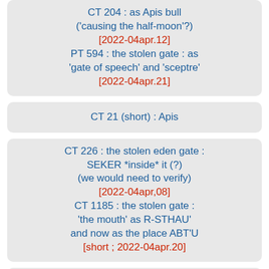CT 204 : as Apis bull ('causing the half-moon'?) [2022-04apr.12] PT 594 : the stolen gate : as 'gate of speech' and 'sceptre' [2022-04apr.21]
CT 21 (short) : Apis
CT 226 : the stolen eden gate : SEKER *inside* it (?) (we would need to verify) [2022-04apr,08] CT 1185 : the stolen gate : 'the mouth' as R-STHAU' and now as the place ABT'U [short ; 2022-04apr.20]
CT 247 : the stolen eden gate :